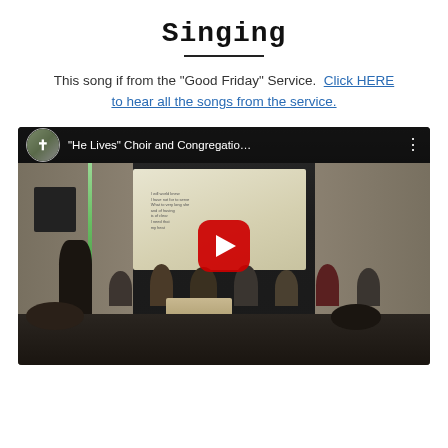Singing
This song if from the "Good Friday" Service.  Click HERE to hear all the songs from the service.
[Figure (screenshot): YouTube video thumbnail showing a church choir and congregation singing, with a projection screen visible, titled '"He Lives" Choir and Congregatio...' with a red YouTube play button overlay.]